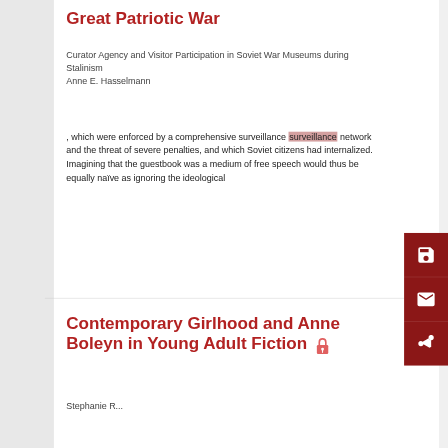Great Patriotic War
Curator Agency and Visitor Participation in Soviet War Museums during Stalinism
Anne E. Hasselmann
, which were enforced by a comprehensive surveillance network and the threat of severe penalties, and which Soviet citizens had internalized. Imagining that the guestbook was a medium of free speech would thus be equally naïve as ignoring the ideological
Contemporary Girlhood and Anne Boleyn in Young Adult Fiction
Stephanie R...